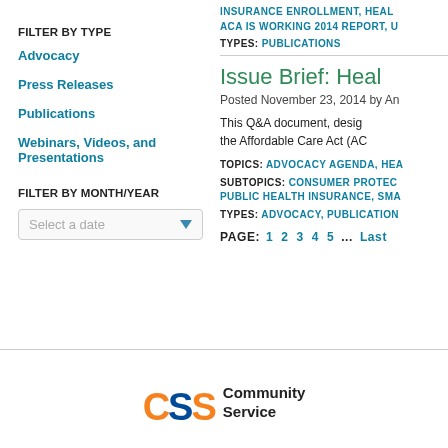INSURANCE ENROLLMENT, HEAL ACA IS WORKING 2014 REPORT, U
TYPES: PUBLICATIONS
FILTER BY TYPE
Advocacy
Press Releases
Publications
Webinars, Videos, and Presentations
FILTER BY MONTH/YEAR
Select a date
Issue Brief: Heal
Posted November 23, 2014 by An
This Q&A document, desig the Affordable Care Act (AC
TOPICS: ADVOCACY AGENDA, HEA
SUBTOPICS: CONSUMER PROTEC PUBLIC HEALTH INSURANCE, SMA
TYPES: ADVOCACY, PUBLICATION
PAGE:  1  2  3  4  5  ...  Last
[Figure (logo): CSS Community Service Society logo with orange and blue letters CSS and text Community Service]